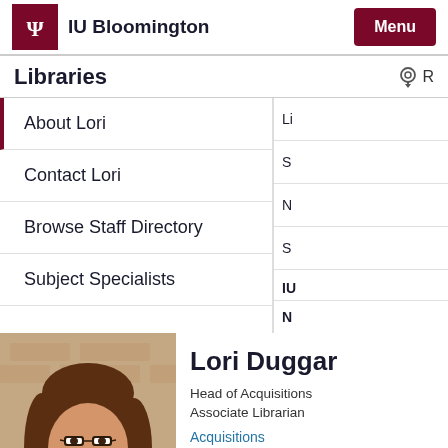IU Bloomington
Libraries
About Lori
Contact Lori
Browse Staff Directory
Subject Specialists
[Figure (photo): Headshot of Lori Duggar, a woman with long brown hair and glasses, smiling, wearing a dark top, with a brick wall background.]
Lori Duggar
Head of Acquisitions
Associate Librarian
Acquisitions